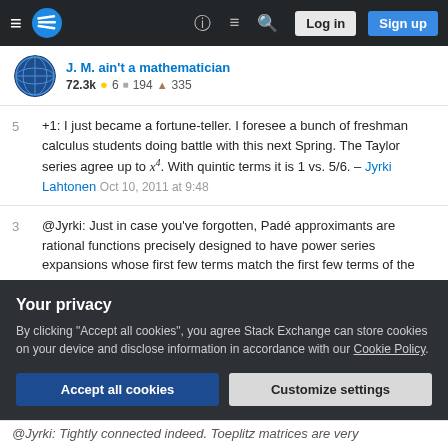Stack Exchange navigation bar with hamburger menu, logo, help, chat, search, Log in, Sign up
J. M. ain't a mathematician — 72.3k ● 6 ■ 194 ▲ 335
+1: I just became a fortune-teller. I foresee a bunch of freshman calculus students doing battle with this next Spring. The Taylor series agree up to x^4. With quintic terms it is 1 vs. 5/6. – Jyrki Lahtonen Oct 10, 2011 at 9:48
@Jyrki: Just in case you've forgotten, Padé approximants are rational functions precisely designed to have power series expansions whose first few terms match the first few terms of the power series of the function they're approximating. :) Since this is a (2, 2) approximant (the two numbers denote respectively the degrees of the numerator and denominator)
Your privacy — By clicking "Accept all cookies", you agree Stack Exchange can store cookies on your device and disclose information in accordance with our Cookie Policy.
@Jyrki: Tightly connected indeed. Toeplitz matrices are very